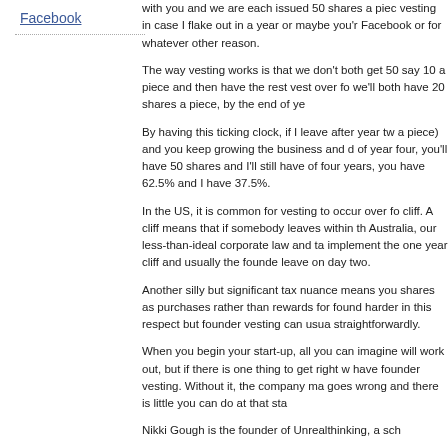Facebook
with you and we are each issued 50 shares a piece vesting in case I flake out in a year or maybe you're Facebook or for whatever other reason.
The way vesting works is that we don't both get 50 say 10 a piece and then have the rest vest over fo we'll both have 20 shares a piece, by the end of ye
By having this ticking clock, if I leave after year two a piece) and you keep growing the business and d of year four, you'll have 50 shares and I'll still have of four years, you have 62.5% and I have 37.5%.
In the US, it is common for vesting to occur over fo cliff. A cliff means that if somebody leaves within th Australia, our less-than-ideal corporate law and ta implement the one year cliff and usually the founde leave on day two.
Another silly but significant tax nuance means you shares as purchases rather than rewards for found harder in this respect but founder vesting can usua straightforwardly.
When you begin your start-up, all you can imagine will work out, but if there is one thing to get right w have founder vesting. Without it, the company may goes wrong and there is little you can do at that sta
Nikki Gough is the founder of Unrealthinking, a sch